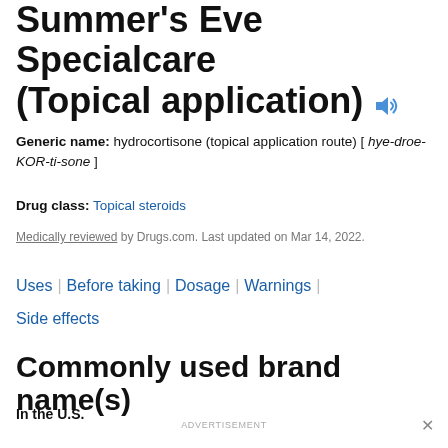Summer's Eve Specialcare (Topical application)
Generic name: hydrocortisone (topical application route) [ hye-droe-KOR-ti-sone ]
Drug class: Topical steroids
Medically reviewed by Drugs.com. Last updated on Mar 14, 2022.
Uses | Before taking | Dosage | Warnings |
Side effects
Commonly used brand name(s)
In the U.S.
ADVERTISEMENT